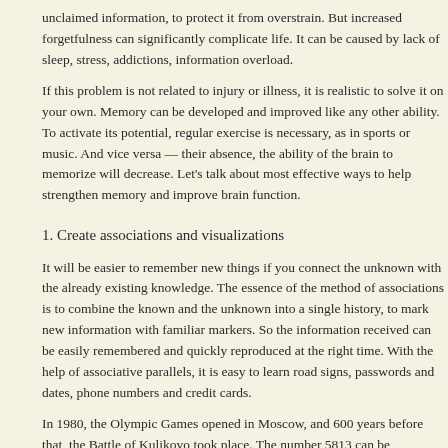unclaimed information, to protect it from overstrain. But increased forgetfulness can significantly complicate life. It can be caused by lack of sleep, stress, addictions, information overload.
If this problem is not related to injury or illness, it is realistic to solve it on your own. Memory can be developed and improved like any other ability. To activate its potential, regular exercise is necessary, as in sports or music. And vice versa — their absence, the ability of the brain to memorize will decrease. Let's talk about most effective ways to help strengthen memory and improve brain function.
1. Create associations and visualizations
It will be easier to remember new things if you connect the unknown with the already existing knowledge. The essence of the method of associations is to combine the known and the unknown into a single history, to mark new information with familiar markers. So the information received can be easily remembered and quickly reproduced at the right time. With the help of associative parallels, it is easy to learn road signs, passwords and dates, phone numbers and credit cards.
In 1980, the Olympic Games opened in Moscow, and 600 years before that, the Battle of Kulikovo took place. The number 5813 can be represented as a numerical expression 5 + 8 = 13. In this case, images are remembered even more efficiently. Better if they are unusual and even absurd. For example, the figure eight resembles a woman with large hips and voluminous breasts, and the figure five is a circus unicycle. In your mind, draw a fat lady who buys such a bike and rides it around the city.
how to write the title of a book in an essay <a